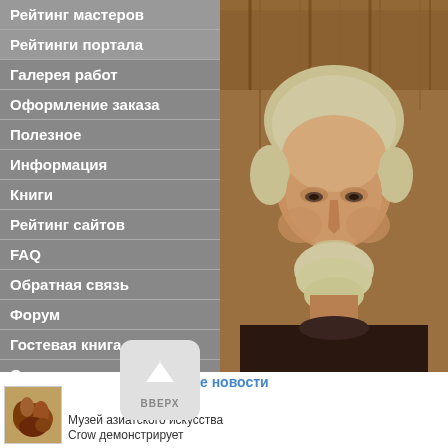Рейтинг мастеров
Рейтинги портала
Галерея работ
Оформление заказа
Полезное
Информация
Книги
Рейтинг сайтов
FAQ
Обратная связь
Форум
Гостевая книга
О нас
Социальные сети
Контакты
[Figure (photo): Portrait photo of an older man with gray-blonde hair and beard, wearing a dark shirt, against a wooden background]
Последние новости
[Figure (photo): Small thumbnail image of decorative art object]
Музей азиатского искусства Crow демонстрирует